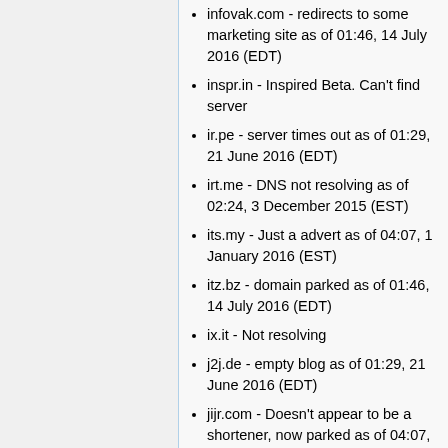infovak.com - redirects to some marketing site as of 01:46, 14 July 2016 (EDT)
inspr.in - Inspired Beta. Can't find server
ir.pe - server times out as of 01:29, 21 June 2016 (EDT)
irt.me - DNS not resolving as of 02:24, 3 December 2015 (EST)
its.my - Just a advert as of 04:07, 1 January 2016 (EST)
itz.bz - domain parked as of 01:46, 14 July 2016 (EDT)
ix.it - Not resolving
j2j.de - empty blog as of 01:29, 21 June 2016 (EDT)
jijr.com - Doesn't appear to be a shortener, now parked as of 04:07, 1 January 2016 (EST)